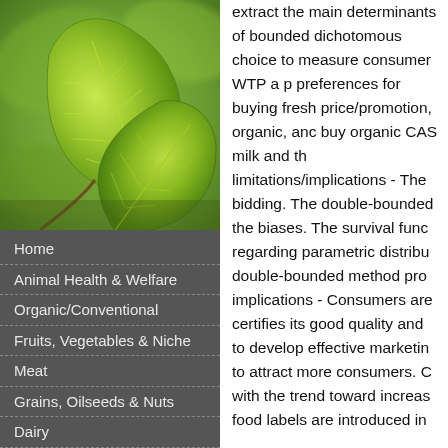[Figure (photo): Close-up photo of green leaves with visible veins against a blurred green background]
Home
Animal Health & Welfare
Organic/Conventional
Fruits, Vegetables & Niche
Meat
Grains, Oilseeds & Nuts
Dairy
Poultry, Eggs & Fish
Consumer Perspectives
extract the main determinants of bounded dichotomous choice to measure consumer WTP a p preferences for buying fresh price/promotion, organic, anc buy organic CAS milk and th limitations/implications - The bidding. The double-bounded the biases. The survival func regarding parametric distribu double-bounded method pro implications - Consumers are certifies its good quality and to develop effective marketin to attract more consumers. C with the trend toward increas food labels are introduced in an approach which has succ measurement.